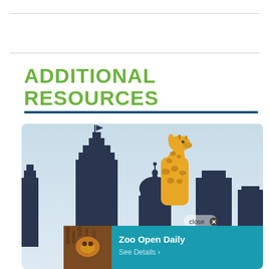ADDITIONAL RESOURCES
[Figure (illustration): Zoo website screenshot showing a cityscape illustration with a giraffe peeking above dark building silhouettes on a light blue background. A popup overlay at the bottom shows a tiger photo thumbnail on the left and 'Zoo Open Daily / See Details >' text on a teal background. A 'close x' button appears at the top right of the popup.]